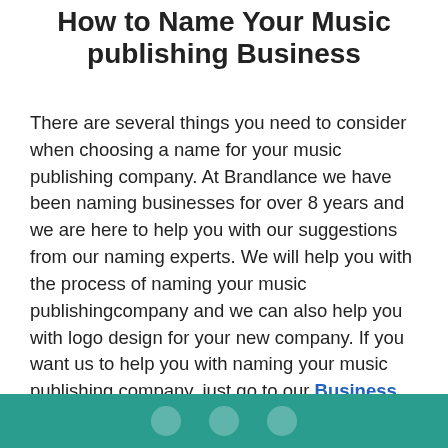How to Name Your Music publishing Business
There are several things you need to consider when choosing a name for your music publishing company. At Brandlance we have been naming businesses for over 8 years and we are here to help you with our suggestions from our naming experts. We will help you with the process of naming your music publishingcompany and we can also help you with logo design for your new company. If you want us to help you with naming your music publishing company, just go to our Business Naming Service page, fill out our questionnaire and we can start!
[Figure (other): Teal footer bar with social media circle icons]